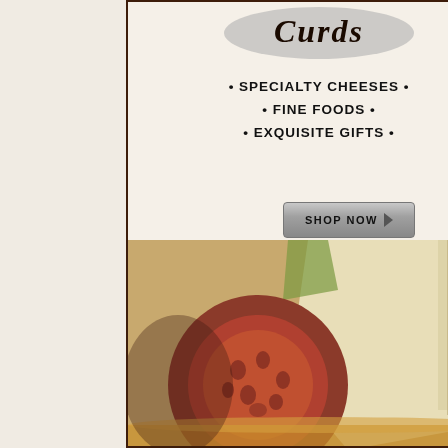[Figure (logo): Cursive/script brand logo text in dark color on light background]
• SPECIALTY CHEESES •
• FINE FOODS •
• EXQUISITE GIFTS •
[Figure (other): SHOP NOW button with arrow]
[Figure (photo): Close-up photo of a sliced fig and cheese wedge with honey drizzle on a wooden board]